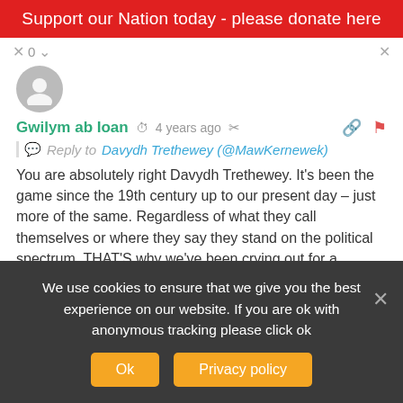Support our Nation today - please donate here
Gwilym ab Ioan  •  4 years ago  •  Reply to Davydh Trethewey (@MawKernewek)

You are absolutely right Davydh Trethewey. It's been the game since the 19th century up to our present day – just more of the same. Regardless of what they call themselves or where they say they stand on the political spectrum. THAT'S why we've been crying out for a syncretic party that doesn't follow ANY of those old patterns of politics. A party that thinks outside of
We use cookies to ensure that we give you the best experience on our website. If you are ok with anonymous tracking please click ok